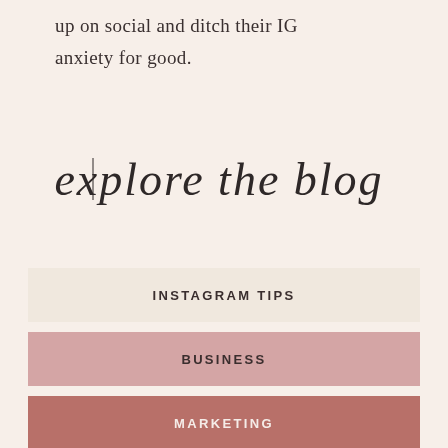up on social and ditch their IG anxiety for good.
[Figure (illustration): Handwritten script text reading 'explore the blog' in a thin cursive font on a light pinkish-beige background.]
INSTAGRAM TIPS
BUSINESS
MARKETING